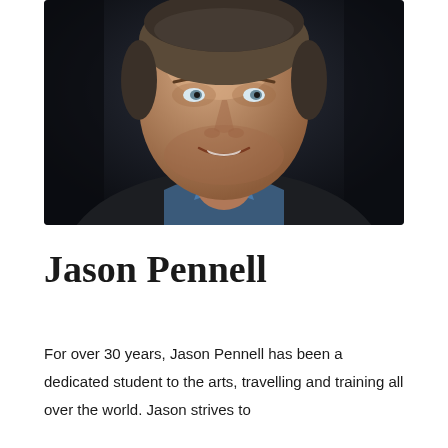[Figure (photo): Professional headshot of Jason Pennell, a middle-aged man with short grey-brown hair, light stubble, wearing a dark blazer and blue shirt, smiling, against a dark background.]
Jason Pennell
For over 30 years, Jason Pennell has been a dedicated student to the arts, travelling and training all over the world. Jason strives to